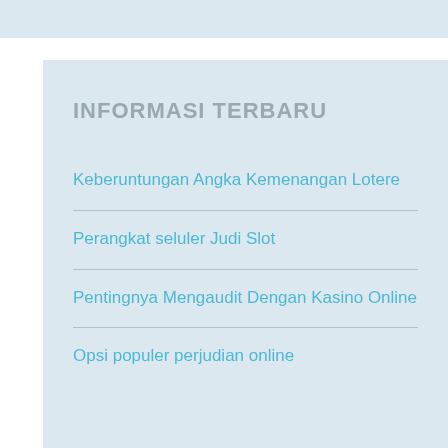INFORMASI TERBARU
Keberuntungan Angka Kemenangan Lotere
Perangkat seluler Judi Slot
Pentingnya Mengaudit Dengan Kasino Online
Opsi populer perjudian online